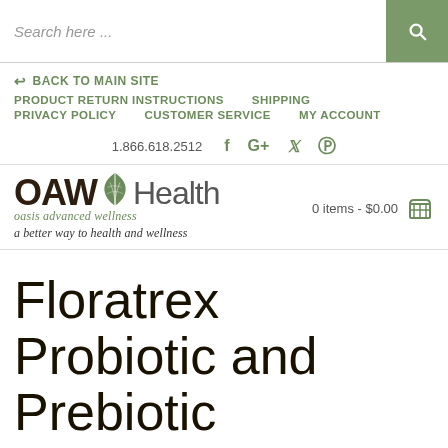Search here ...
BACK TO MAIN SITE
PRODUCT RETURN INSTRUCTIONS
SHIPPING
PRIVACY POLICY
CUSTOMER SERVICE
MY ACCOUNT
1.866.618.2512
[Figure (logo): OAWHealth logo with leaf icon, oasis advanced wellness, a better way to health and wellness]
0 items - $0.00
Floratrex Probiotic and Prebiotic